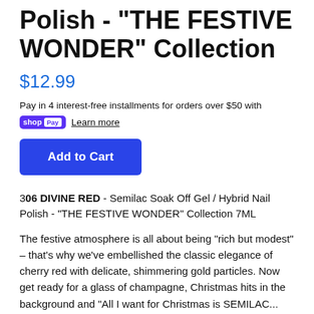Polish - "THE FESTIVE WONDER" Collection
$12.99
Pay in 4 interest-free installments for orders over $50 with shop Pay  Learn more
Add to Cart
306 DIVINE RED - Semilac Soak Off Gel / Hybrid Nail Polish - "THE FESTIVE WONDER" Collection 7ML
The festive atmosphere is all about being "rich but modest" – that's why we've embellished the classic elegance of cherry red with delicate, shimmering gold particles. Now get ready for a glass of champagne, Christmas hits in the background and "All I want for Christmas is SEMILAC..."